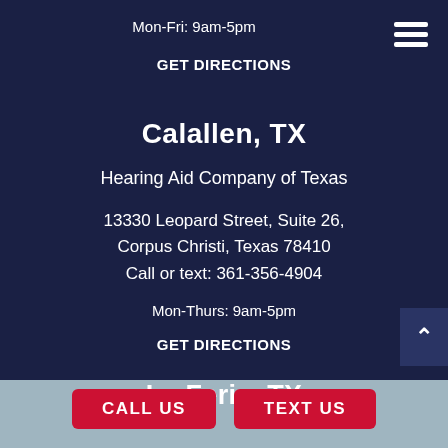Mon-Fri: 9am-5pm
GET DIRECTIONS
Calallen, TX
Hearing Aid Company of Texas
13330 Leopard Street, Suite 26, Corpus Christi, Texas 78410
Call or text: 361-356-4904
Mon-Thurs: 9am-5pm
GET DIRECTIONS
La Feria, TX
CALL US
TEXT US